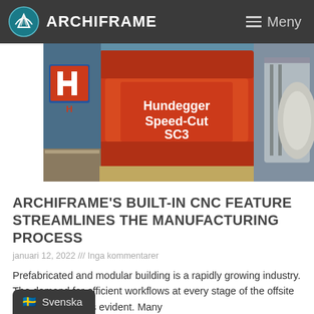ARCHIFRAME | Meny
[Figure (photo): Industrial CNC machine — Hundegger Speed-Cut SC3 — red machine head in a workshop setting with metal components visible in the background]
ARCHIFRAME'S BUILT-IN CNC FEATURE STREAMLINES THE MANUFACTURING PROCESS
januari 12, 2022 /// Inga kommentarer
Prefabricated and modular building is a rapidly growing industry. The demand for efficient workflows at every stage of the offsite building process is evident. Many
READ MORE »
Svenska